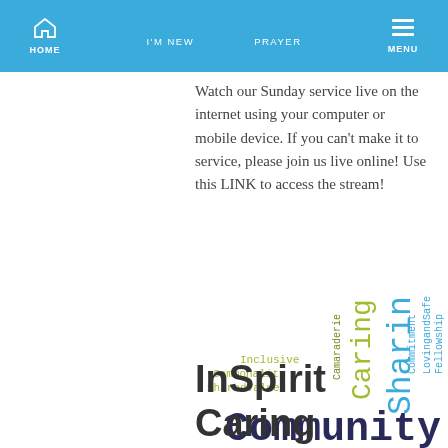HOME  I'M NEW  PRAYER  MENU
Watch our Sunday service live on the internet using your computer or mobile device.  If you can't make it to service, please join us live online! Use this LINK to access the stream!
[Figure (infographic): Word cloud with community-related words: Community (large, dark), Sharing (large, teal), Caring (large, yellow-green), Growing (medium, teal), Connecting (medium, yellow-green), Inclusive (small, yellow-green), Commonality (small, yellow-green), SharedValues (small, yellow-green), Camaraderie (small, olive), Commitment (small, blue), LovingandSafe (small, blue), Fellowship (small, teal)]
InSpirit Caring Circles